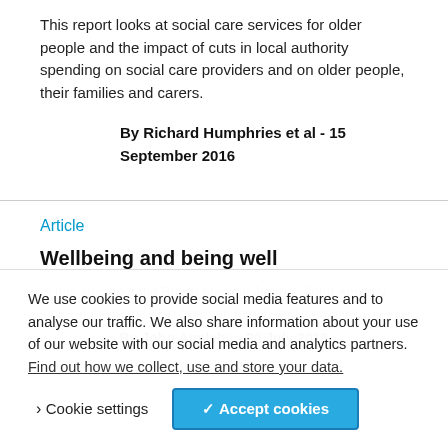This report looks at social care services for older people and the impact of cuts in local authority spending on social care providers and on older people, their families and carers.
By Richard Humphries et al - 15 September 2016
Article
Wellbeing and being well
In this article for the British Medical Journal, John Appleby looks at the correlation between health and happiness.
By John Appleby - 20 July 2016
We use cookies to provide social media features and to analyse our traffic. We also share information about your use of our website with our social media and analytics partners. Find out how we collect, use and store your data.